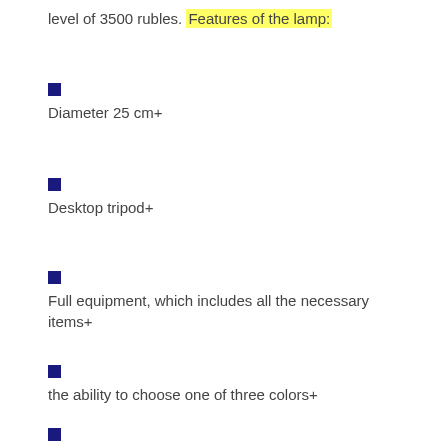level of 3500 rubles. Features of the lamp:
Diameter 25 cm+
Desktop tripod+
Full equipment, which includes all the necessary items+
the ability to choose one of three colors+